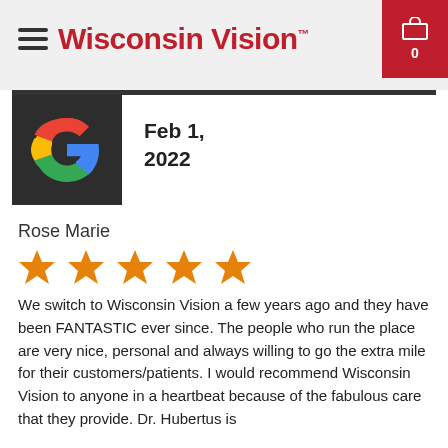Wisconsin Vision™
[Figure (logo): Google 'G' logo on dark background]
Feb 1, 2022
Rose Marie
[Figure (infographic): 5 orange star rating]
We switch to Wisconsin Vision a few years ago and they have been FANTASTIC ever since. The people who run the place are very nice, personal and always willing to go the extra mile for their customers/patients. I would recommend Wisconsin Vision to anyone in a heartbeat because of the fabulous care that they provide. Dr. Hubertus is